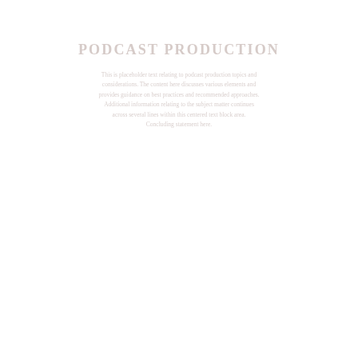Podcast Production
This is faint body text describing podcast production content. The text appears very lightly rendered and spans several lines in a centered block near the top of the page. Placeholder descriptive content continues here and wraps across multiple lines as shown.